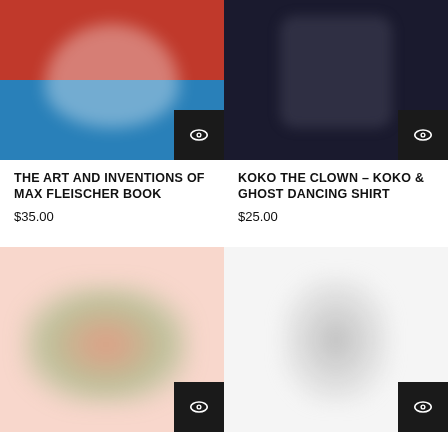[Figure (photo): Product image of The Art and Inventions of Max Fleischer book with red and blue artwork, with eye icon overlay button]
THE ART AND INVENTIONS OF MAX FLEISCHER BOOK
$35.00
[Figure (photo): Product image of Koko the Clown - Koko & Ghost Dancing Shirt, black shirt on dark background, with eye icon overlay button]
KOKO THE CLOWN – KOKO & GHOST DANCING SHIRT
$25.00
[Figure (photo): Product image showing colorful animated characters on pink background, with eye icon overlay button]
[Figure (photo): Product image of a grey figurine/statuette on white background, with eye icon overlay button]